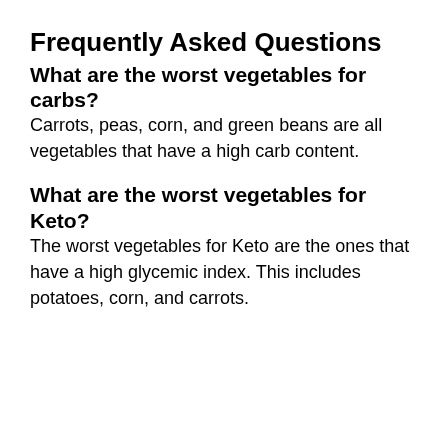Frequently Asked Questions
What are the worst vegetables for carbs?
Carrots, peas, corn, and green beans are all vegetables that have a high carb content.
What are the worst vegetables for Keto?
The worst vegetables for Keto are the ones that have a high glycemic index. This includes potatoes, corn, and carrots.